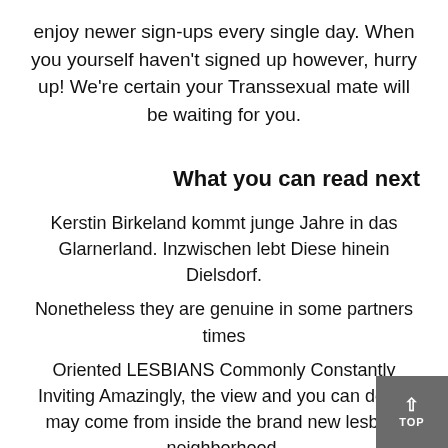enjoy newer sign-ups every single day. When you yourself haven't signed up however, hurry up! We're certain your Transsexual mate will be waiting for you.
What you can read next
Kerstin Birkeland kommt junge Jahre in das Glarnerland. Inzwischen lebt Diese hinein Dielsdorf.
Nonetheless they are genuine in some partners times
Oriented LESBIANS Commonly Constantly Inviting Amazingly, the view and you can doubt may come from inside the brand new lesbian neighborhood.